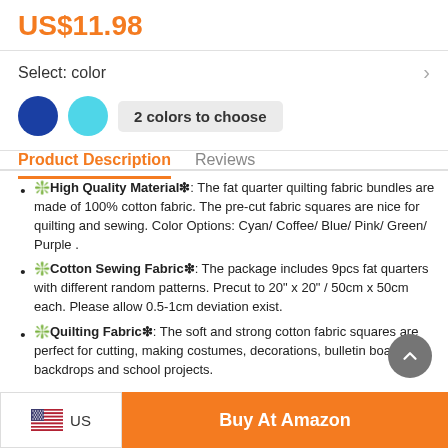US$11.98
Select: color
[Figure (infographic): Two color circles (dark blue and cyan) with a badge reading '2 colors to choose']
Product Description
Reviews
❇️High Quality Material❇: The fat quarter quilting fabric bundles are made of 100% cotton fabric. The pre-cut fabric squares are nice for quilting and sewing. Color Options: Cyan/ Coffee/ Blue/ Pink/ Green/ Purple .
❇️Cotton Sewing Fabric❇: The package includes 9pcs fat quarters with different random patterns. Precut to 20" x 20" / 50cm x 50cm each. Please allow 0.5-1cm deviation exist.
❇️Quilting Fabric❇: The soft and strong cotton fabric squares are perfect for cutting, making costumes, decorations, bulletin board backdrops and school projects.
US  Buy At Amazon